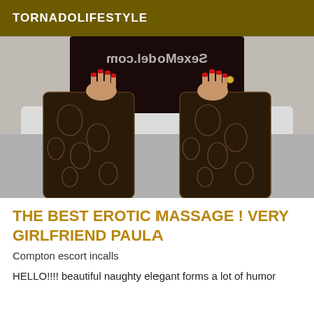TORNADOLIFESTYLE
[Figure (photo): Close-up photo of a woman wearing black lace thigh-high stockings, posing in front of a white car. A mirrored watermark text is visible at the top.]
THE BEST EROTIC MASSAGE ! VERY GIRLFRIEND PAULA
Compton escort incalls
HELLO!!!! beautiful naughty elegant forms a lot of humor